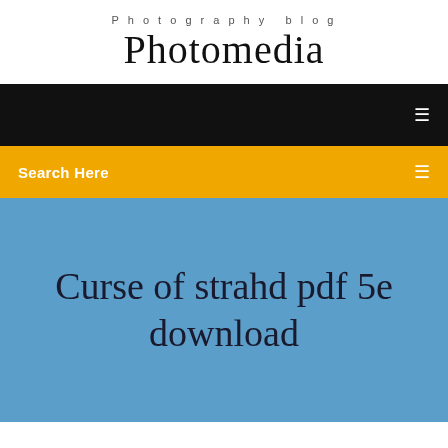Photography blog
Photomedia
[Figure (screenshot): Black navigation bar with a small white menu icon on the right]
Search Here
Curse of strahd pdf 5e download